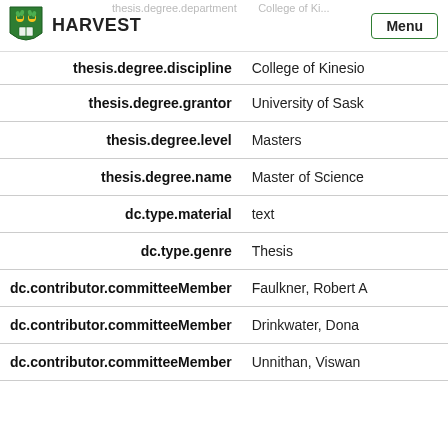HARVEST | Menu
| Field | Value |
| --- | --- |
| thesis.degree.discipline | College of Kinesio... |
| thesis.degree.grantor | University of Sask... |
| thesis.degree.level | Masters |
| thesis.degree.name | Master of Science... |
| dc.type.material | text |
| dc.type.genre | Thesis |
| dc.contributor.committeeMember | Faulkner, Robert ... |
| dc.contributor.committeeMember | Drinkwater, Dona... |
| dc.contributor.committeeMember | Unnithan, Viswan... |